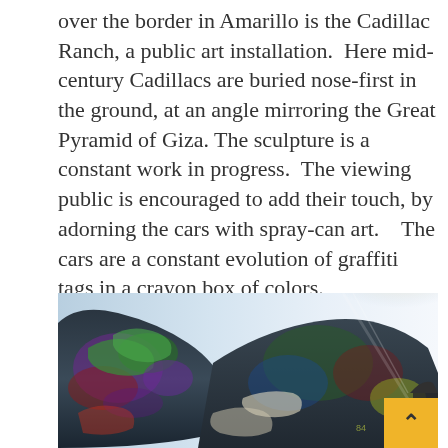over the border in Amarillo is the Cadillac Ranch, a public art installation.  Here mid-century Cadillacs are buried nose-first in the ground, at an angle mirroring the Great Pyramid of Giza. The sculpture is a constant work in progress.  The viewing public is encouraged to add their touch, by adorning the cars with spray-can art.   The cars are a constant evolution of graffiti tags in a crayon box of colors.
[Figure (photo): A close-up photograph of graffiti-covered Cadillac cars at Cadillac Ranch in Amarillo, Texas. The car bodies are completely covered in colorful spray-paint graffiti tags and artwork, visible against a light sky. A yellow back-to-top navigation button with an upward arrow is overlaid in the bottom-right corner.]